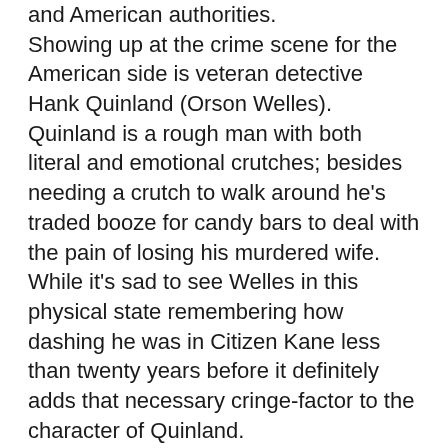and American authorities. Showing up at the crime scene for the American side is veteran detective Hank Quinland (Orson Welles). Quinland is a rough man with both literal and emotional crutches; besides needing a crutch to walk around he's traded booze for candy bars to deal with the pain of losing his murdered wife. While it's sad to see Welles in this physical state remembering how dashing he was in Citizen Kane less than twenty years before it definitely adds that necessary cringe-factor to the character of Quinland.
Once Quinland and Vargas meet the case they're working on really doesn't become important anymore. Instead it becomes more of a match of wits and deception as Vargas goes on a mission to prove that the great Hank Quinland is nothing more then a dirty cop. On his quest Vargas encounters all the necessary elements that make up a film noir; harsh side lighting,